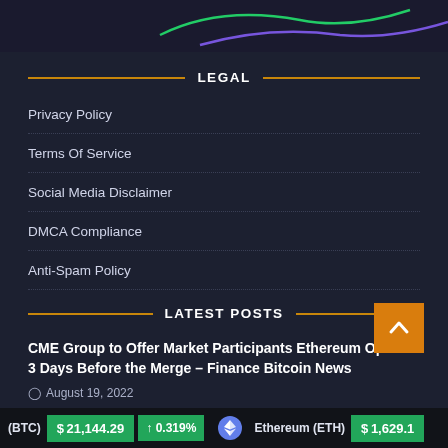[Figure (other): Dark banner with green and purple line chart curves partially visible]
LEGAL
Privacy Policy
Terms Of Service
Social Media Disclaimer
DMCA Compliance
Anti-Spam Policy
LATEST POSTS
CME Group to Offer Market Participants Ethereum Options 3 Days Before the Merge – Finance Bitcoin News
August 19, 2022
(BTC) $21,144.29 ↑ 0.319% Ethereum (ETH) $1,629.1